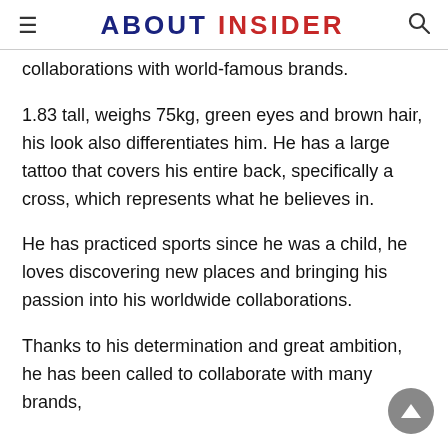ABOUT INSIDER
collaborations with world-famous brands.
1.83 tall, weighs 75kg, green eyes and brown hair, his look also differentiates him. He has a large tattoo that covers his entire back, specifically a cross, which represents what he believes in.
He has practiced sports since he was a child, he loves discovering new places and bringing his passion into his worldwide collaborations.
Thanks to his determination and great ambition, he has been called to collaborate with many brands,